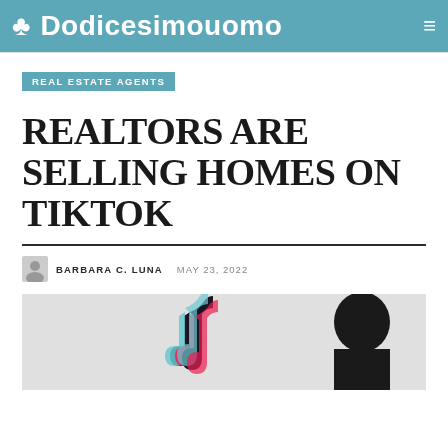Dodicesimouomo
REAL ESTATE AGENTS
REALTORS ARE SELLING HOMES ON TIKTOK
BARBARA C. LUNA  MAY 23, 2022
[Figure (photo): TikTok logo with a silhouette of a person's head in the background, on a light grey background]